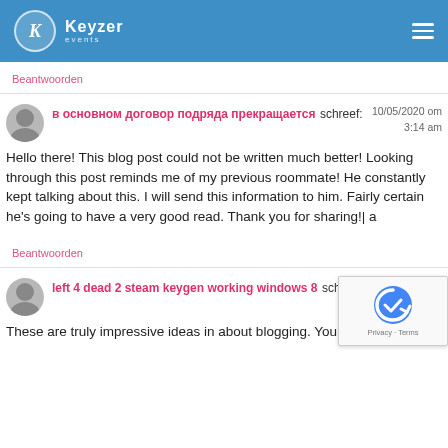Keyzer Events
Beantwoorden
в основном договор подряда прекращается schreef:
10/05/2020 om 3:14 am
Hello there! This blog post could not be written much better! Looking through this post reminds me of my previous roommate! He constantly kept talking about this. I will send this information to him. Fairly certain he's going to have a very good read. Thank you for sharing!| a
Beantwoorden
left 4 dead 2 steam keygen working windows 8 schreef:
10/05 1:38
These are truly impressive ideas in about blogging. You have touched